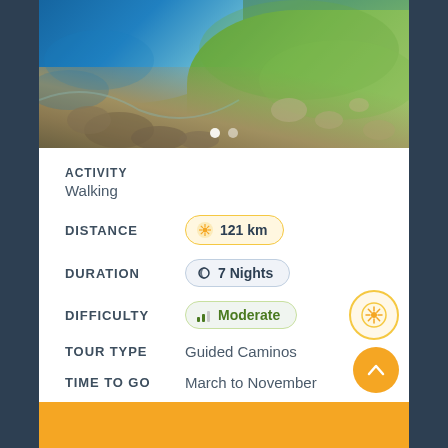[Figure (photo): Coastal landscape with rocky shoreline, turquoise ocean waves on the left, and green grassy hillside with scattered boulders on the right. Carousel dots visible at bottom of image.]
ACTIVITY
Walking
DISTANCE
121 km
DURATION
7 Nights
DIFFICULTY
Moderate
TOUR TYPE
Guided Caminos
TIME TO GO
March to November